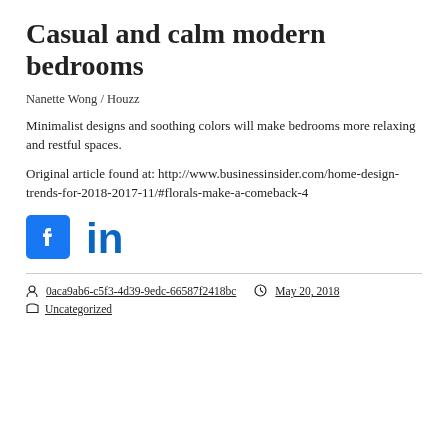Casual and calm modern bedrooms
Nanette Wong / Houzz
Minimalist designs and soothing colors will make bedrooms more relaxing and restful spaces.
Original article found at: http://www.businessinsider.com/home-design-trends-for-2018-2017-11/#florals-make-a-comeback-4
[Figure (other): Facebook and LinkedIn social share icons]
0aca9ab6-c5f3-4d39-9edc-66587f2418bc  May 20, 2018
Uncategorized